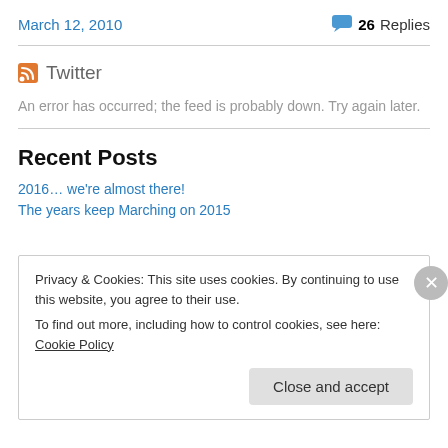March 12, 2010
26 Replies
Twitter
An error has occurred; the feed is probably down. Try again later.
Recent Posts
2016… we're almost there!
The years keep Marching on 2015
Privacy & Cookies: This site uses cookies. By continuing to use this website, you agree to their use.
To find out more, including how to control cookies, see here: Cookie Policy
Close and accept